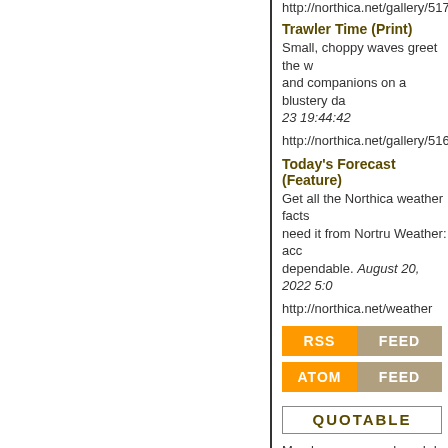http://northica.net/gallery/517
Trawler Time (Print)
Small, choppy waves greet the w... and companions on a blustery da... 23 19:44:42
http://northica.net/gallery/516
Today's Forecast (Feature)
Get all the Northica weather facts... need it from Nortru Weather: acc... dependable. August 20, 2022 5:0...
http://northica.net/weather
[Figure (other): RSS FEED button - orange and tan/gray colored button]
[Figure (other): ATOM FEED button - orange and tan/gray colored button]
[Figure (other): QUOTABLE header box with border]
Man knows so much and do... little.